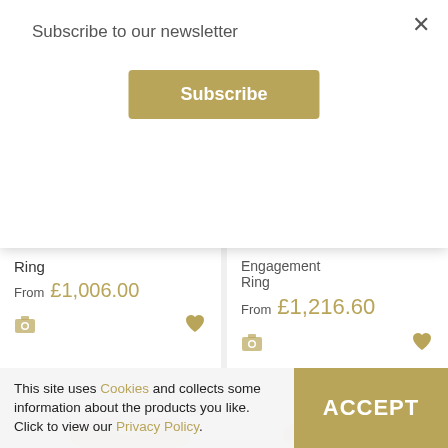Subscribe to our newsletter
Subscribe
Ring
From £1,006.00
Engagement Ring
From £1,216.60
[Figure (photo): Partial view of a diamond ring on rose gold band]
[Figure (photo): Partial view of a diamond ring on rose gold band]
This site uses Cookies and collects some information about the products you like. Click to view our Privacy Policy.
ACCEPT